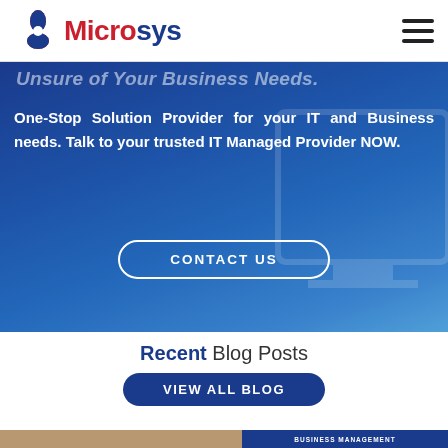Microsys logo and navigation
Unsure of Your Business Needs.
One-Stop Solution Provider for your IT and Business needs. Talk to your trusted IT Managed Provider NOW.
CONTACT US
Recent Blog Posts
VIEW ALL BLOG
BUSINESS MANAGEMENT